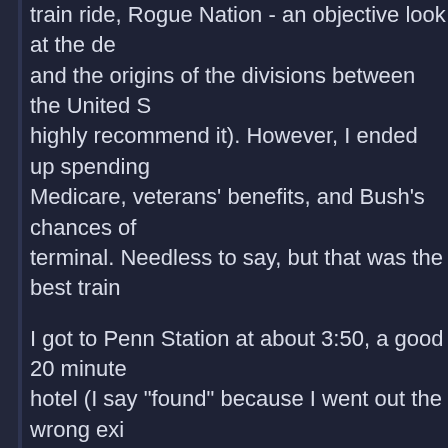train ride, Rogue Nation - an objective look at the de and the origins of the divisions between the United S highly recommend it). However, I ended up spending Medicare, veterans' benefits, and Bush's chances of terminal. Needless to say, but that was the best train
I got to Penn Station at about 3:50, a good 20 minute hotel (I say "found" because I went out the wrong exi the hotel). Once I got there I checked in and immedia accounting office - I wanted to once and for all finish hotel regarding the $124.52 they stupidly took from m where I was directed, and could not find the right offi called the office.
They said that they would be happy to discuss the m when I told them I had already arrived and was ready good pause over the phone, I was put on hold, and w transferred to my account on Wednesday, and it was it through the central bank and into my account befor show up until Tuesday), and so I found myself in the duration of this my second Gathering.
That night I made it out of the hotel and to the Emp